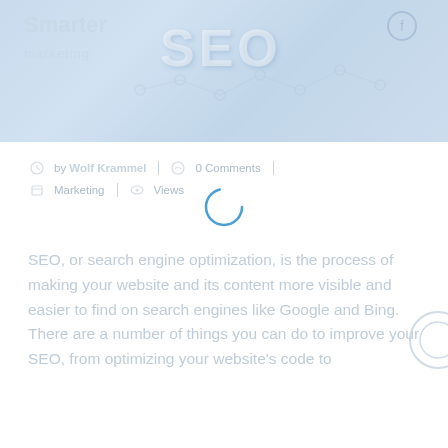[Figure (photo): Hero banner image with faded blue-gray overlay showing SEO text and network/chain graphic with 'Smarter' text in top left. Background shows a desk/office scene.]
by Wolf Krammel   0 Comments
Marketing   Views
SEO, or search engine optimization, is the process of making your website and its content more visible and easier to find on search engines like Google and Bing. There are a number of things you can do to improve your SEO, from optimizing your website's code to